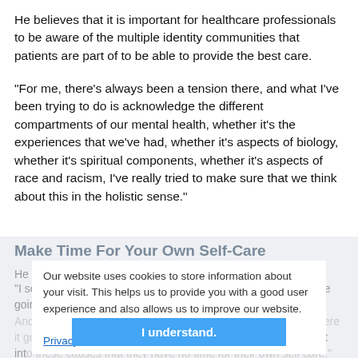He believes that it is important for healthcare professionals to be aware of the multiple identity communities that patients are part of to be able to provide the best care.
"For me, there's always been a tension there, and what I've been trying to do is acknowledge the different compartments of our mental health, whether it's the experiences that we've had, whether it's aspects of biology, whether it's spiritual components, whether it's aspects of race and racism, I've really tried to make sure that we think about this in the holistic sense."
Make Time For Your Own Self-Care
He recommends that students be conscious of burnout.
"I see this with students quite a bit where I see that students are going a thousand miles an hour with no room to pause or rest. And this is often with good intention, but it comes to a point where it goes back to burnout where people are putting so much effort into these causes that they have no time for their own self care," he says. "They eventually burnout and have mental health challenges and are no longer able to continue that work."
Our website uses cookies to store information about your visit. This helps us to provide you with a good user experience and also allows us to improve our website.
Privacy Statement
I understand.